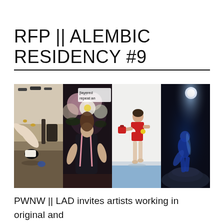RFP || ALEMBIC RESIDENCY #9
[Figure (photo): Four side-by-side performance photographs: (1) a dancer in black shorts and heels lying/rolling on a studio floor, (2) a performer in dark clothes leaning back against a floral projected backdrop with text 'layered repeat an', (3) a dancer in a red outfit holding a red prop on a white studio floor, (4) a performer in blue stage lighting on a rocky surface with a full moon or spotlight above.]
PWNW || LAD invites artists working in original and contemporary time-based performance, whose